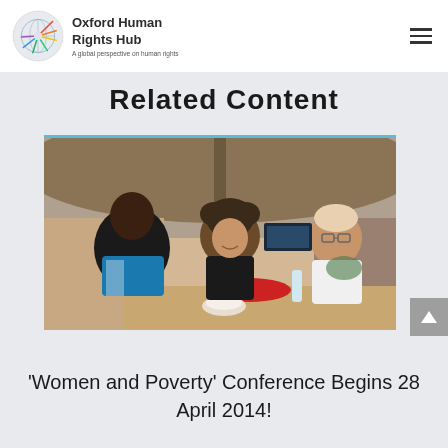Oxford Human Rights Hub — A global perspective on human rights
Related Content
[Figure (photo): Three people — a Black woman in a colorful top, a woman with curly hair in a dark top, and a man in a white shirt — sitting at an outdoor table under a large umbrella, apparently in conversation at a conference or meeting.]
'Women and Poverty' Conference Begins 28 April 2014!